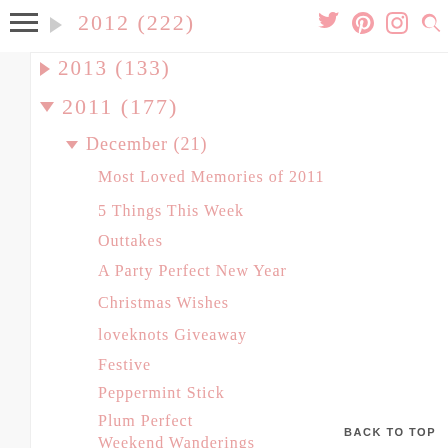2012 (222)
2011 (177)
December (21)
Most Loved Memories of 2011
5 Things This Week
Outtakes
A Party Perfect New Year
Christmas Wishes
loveknots Giveaway
Festive
Peppermint Stick
Plum Perfect
Weekend Wanderings
Teatime Thursday: Q&A Edition
Snapshots and A Question
BACK TO TOP